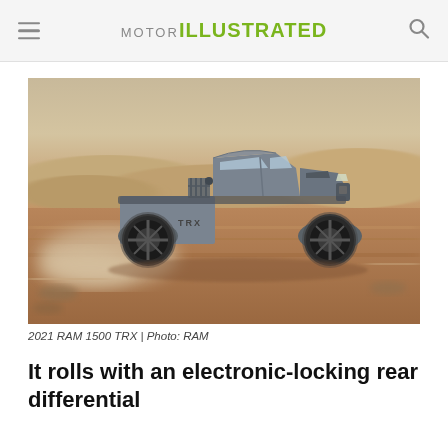MOTOR ILLUSTRATED
[Figure (photo): 2021 RAM 1500 TRX pickup truck driving at speed through desert terrain, side profile, dust clouds behind rear wheels, motion blur on background, gray truck with rack in truck bed]
2021 RAM 1500 TRX | Photo: RAM
It rolls with an electronic-locking rear differential